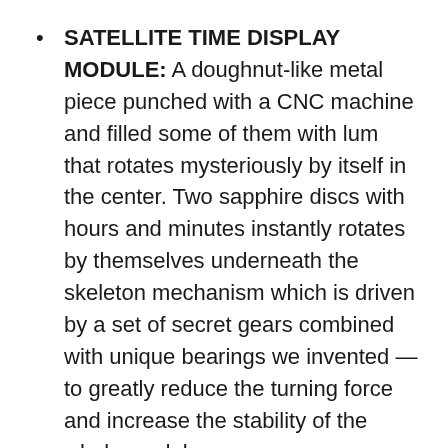SATELLITE TIME DISPLAY MODULE: A doughnut-like metal piece punched with a CNC machine and filled some of them with lum that rotates mysteriously by itself in the center. Two sapphire discs with hours and minutes instantly rotates by themselves underneath the skeleton mechanism which is driven by a set of secret gears combined with unique bearings we invented — to greatly reduce the turning force and increase the stability of the whole module.
AUTOMATIC MOVEMENT: Movement is the soul of all watches and that is exactly what attracts all watch collectors. We have more than 15